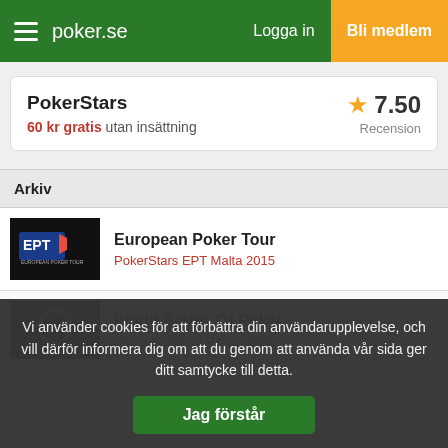poker.se — Logga in — Bli medlem
PokerStars — 7.50 — Recension — 60 kr gratis utan insättning
Arkiv
European Poker Tour — PokerStars EPT Malta 2015
World Series Of Poker — World Series of Poker 2018
Vi använder cookies för att förbättra din användarupplevelse, och vill därför informera dig om att du genom att använda vår sida ger ditt samtycke till detta.
Jag förstår
World Poker Tour